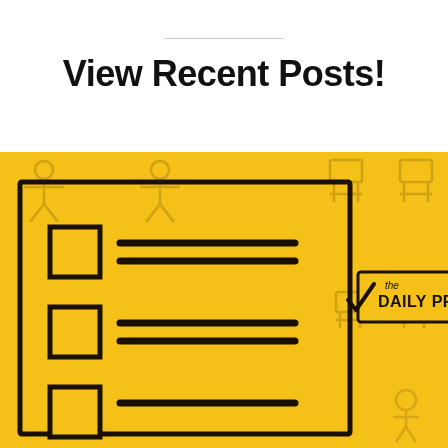View Recent Posts!
[Figure (illustration): Yellow background illustration of a checklist/clipboard with three checkboxes and lines, a rotated diamond/eraser shape, and 'the DAILY PREP LIST' branding logo with a checkmark. Background has faint repeating icons.]